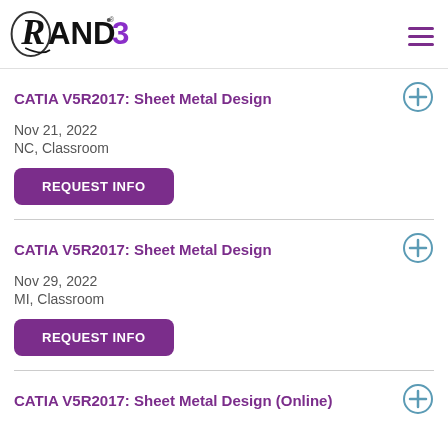RAND 3D
CATIA V5R2017: Sheet Metal Design
Nov 21, 2022
NC, Classroom
REQUEST INFO
CATIA V5R2017: Sheet Metal Design
Nov 29, 2022
MI, Classroom
REQUEST INFO
CATIA V5R2017: Sheet Metal Design (Online)